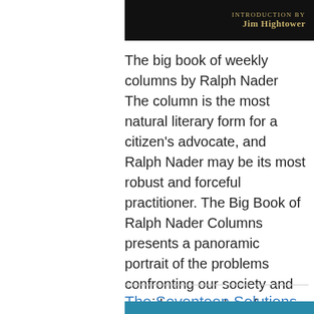[Figure (photo): Top portion of a book cover with dark background and text 'Introduction by Jim Hightower' in gold/yellow serif font]
The big book of weekly columns by Ralph Nader The column is the most natural literary form for a citizen's advocate, and Ralph Nader may be its most robust and forceful practitioner. The Big Book of Ralph Nader Columns presents a panoramic portrait of the problems confronting our society and provides examples of the many actions an...
The Seventeen Solutions
[Figure (photo): Bottom portion showing the top of another book cover with a teal/blue background]